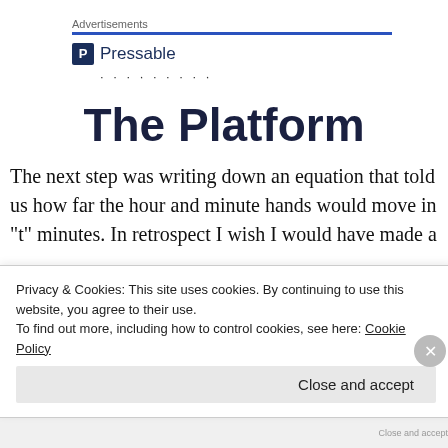Advertisements
[Figure (logo): Pressable logo with icon and dotted line below]
The Platform
The next step was writing down an equation that told us how far the hour and minute hands would move in “t” minutes.  In retrospect I wish I would have made a
Privacy & Cookies: This site uses cookies. By continuing to use this website, you agree to their use.
To find out more, including how to control cookies, see here: Cookie Policy
Close and accept